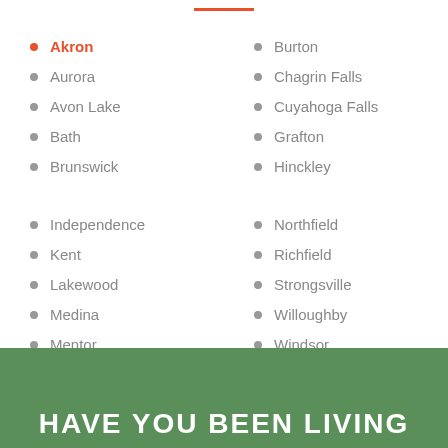Akron
Aurora
Avon Lake
Bath
Brunswick
Burton
Chagrin Falls
Cuyahoga Falls
Grafton
Hinckley
Independence
Kent
Lakewood
Medina
Mentor
Northfield
Richfield
Strongsville
Willoughby
Windsor
HAVE YOU BEEN LIVING